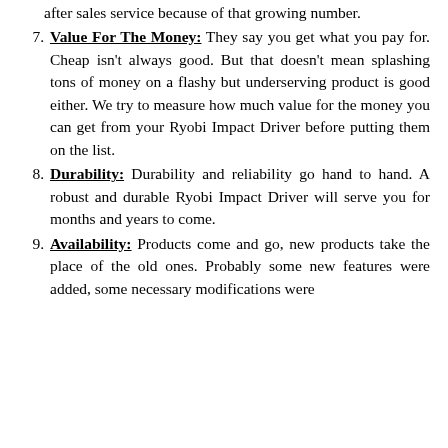after sales service because of that growing number.
7. Value For The Money: They say you get what you pay for. Cheap isn't always good. But that doesn't mean splashing tons of money on a flashy but underserving product is good either. We try to measure how much value for the money you can get from your Ryobi Impact Driver before putting them on the list.
8. Durability: Durability and reliability go hand to hand. A robust and durable Ryobi Impact Driver will serve you for months and years to come.
9. Availability: Products come and go, new products take the place of the old ones. Probably some new features were added, some necessary modifications were